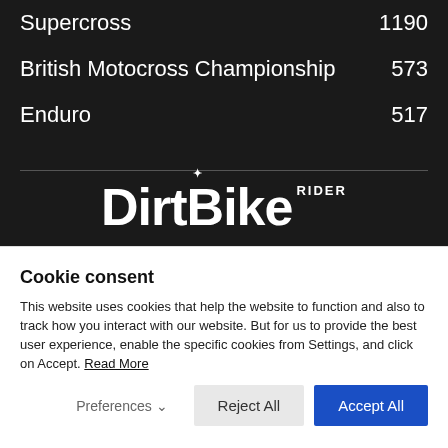Supercross  1190
British Motocross Championship  573
Enduro  517
[Figure (logo): DirtBike Rider logo in white on dark background]
Cookie consent
This website uses cookies that help the website to function and also to track how you interact with our website. But for us to provide the best user experience, enable the specific cookies from Settings, and click on Accept. Read More